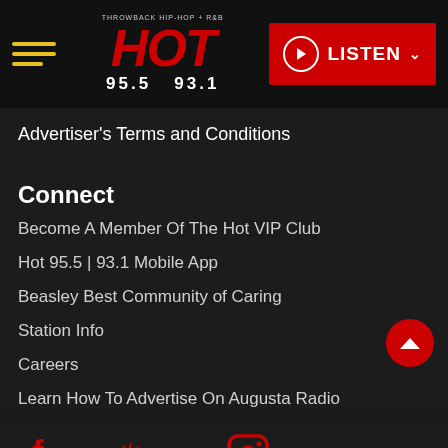HOT 95.5 93.1 - LISTEN
Advertiser's Terms and Conditions
Connect
Become A Member Of The Hot VIP Club
Hot 95.5 | 93.1 Mobile App
Beasley Best Community of Caring
Station Info
Careers
Learn How To Advertise On Augusta Radio
[Figure (illustration): Social media icons: Facebook, Twitter, Instagram]